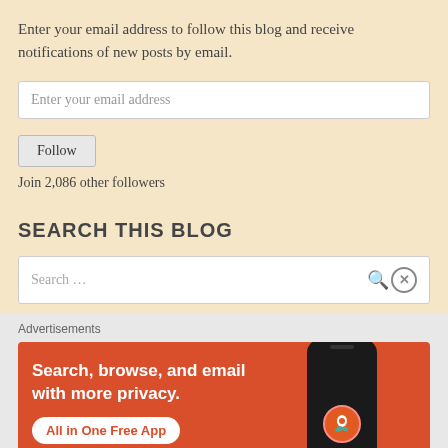Enter your email address to follow this blog and receive notifications of new posts by email.
Enter your email address
Follow
Join 2,086 other followers
SEARCH THIS BLOG
Search …
Advertisements
[Figure (screenshot): DuckDuckGo advertisement banner: orange/red background with text 'Search, browse, and email with more privacy. All in One Free App' and DuckDuckGo logo on a phone mockup on the right side.]